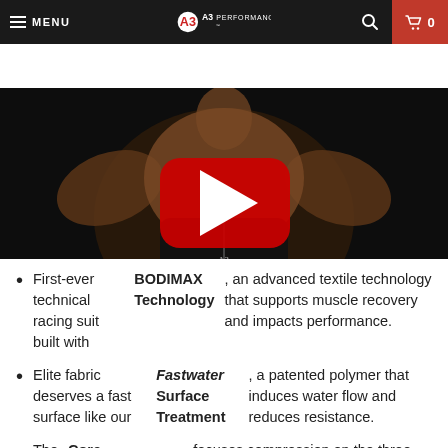MENU | A3 PERFORMANCE | 0
[Figure (photo): A swimmer in a black A3 Performance racing suit posing from behind showing muscular back and arms, with a red YouTube play button overlay on a dark background.]
First-ever technical racing suit built with BODIMAX Technology, an advanced textile technology that supports muscle recovery and impacts performance.
Elite fabric deserves a fast surface like our Fastwater Surface Treatment, a patented polymer that induces water flow and reduces resistance.
The Core Compression System focuses compression on the three main areas of resistance: